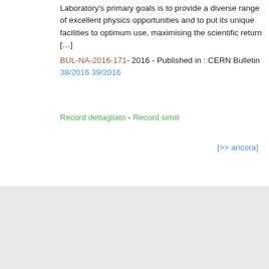Laboratory's primary goals is to provide a diverse range of excellent physics opportunities and to put its unique facilities to optimum use, maximising the scientific return […]
BUL-NA-2016-171- 2016 - Published in : CERN Bulletin 38/2016 39/2016
Record dettagliato - Record simili
[>> ancora]
CERN Document Server :: Cerca :: Sottometti :: Personalizza :: Notice :: Fornita da Invenio   Questo sito è disponibile nelle lingue seguenti: Български Català Deutsch Ελληνικά English Español